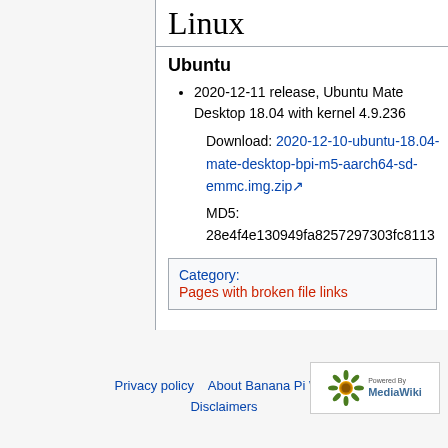Linux
Ubuntu
2020-12-11 release, Ubuntu Mate Desktop 18.04 with kernel 4.9.236
Download: 2020-12-10-ubuntu-18.04-mate-desktop-bpi-m5-aarch64-sd-emmc.img.zip
MD5: 28e4f4e130949fa8257297303fc8113
Category: Pages with broken file links
Privacy policy · About Banana Pi Wiki · Disclaimers